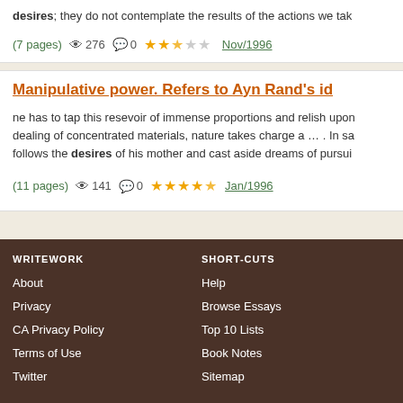desires; they do not contemplate the results of the actions we tak
(7 pages)  276  0  Nov/1996
Manipulative power. Refers to Ayn Rand's id
ne has to tap this resevoir of immense proportions and relish upon dealing of concentrated materials, nature takes charge a … . In sa follows the desires of his mother and cast aside dreams of pursui
(11 pages)  141  0  Jan/1996
WRITEWORK | SHORT-CUTS | About | Privacy | CA Privacy Policy | Terms of Use | Twitter | Help | Browse Essays | Top 10 Lists | Book Notes | Sitemap